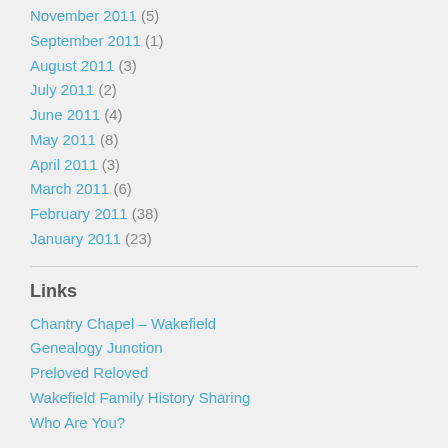November 2011 (5)
September 2011 (1)
August 2011 (3)
July 2011 (2)
June 2011 (4)
May 2011 (8)
April 2011 (3)
March 2011 (6)
February 2011 (38)
January 2011 (23)
Links
Chantry Chapel – Wakefield
Genealogy Junction
Preloved Reloved
Wakefield Family History Sharing
Who Are You?
Categories
General
News